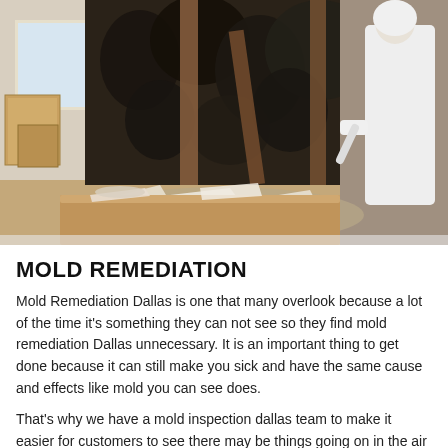[Figure (photo): A worker in a white protective hazmat suit performing mold remediation inside a damaged room. Walls show extensive black mold growth on exposed framing and drywall. Debris and torn drywall pieces are scattered on the floor. Cardboard boxes are visible in the background near a window.]
MOLD REMEDIATION
Mold Remediation Dallas is one that many overlook because a lot of the time it's something they can not see so they find mold remediation Dallas unnecessary. It is an important thing to get done because it can still make you sick and have the same cause and effects like mold you can see does.
That's why we have a mold inspection dallas team to make it easier for customers to see there may be things going on in the air or on